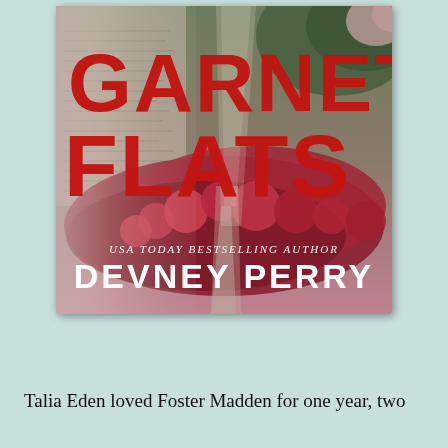[Figure (illustration): Book cover of 'Garnet Flats' by Devney Perry. Large red distressed title text 'GARNET FLATS' over a background of a garden path with red flowers, overlaid with faded manuscript text. Below the title: 'USA TODAY BESTSELLING AUTHOR' in italic white text and 'DEVNEY PERRY' in large bold white text.]
Talia Eden loved Foster Madden for one year, two